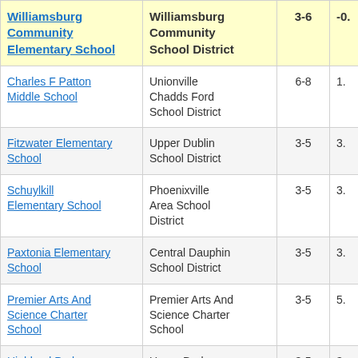| School | District | Grades | Value |
| --- | --- | --- | --- |
| Williamsburg Community Elementary School | Williamsburg Community School District | 3-6 | -0. |
| Charles F Patton Middle School | Unionville Chadds Ford School District | 6-8 | 1. |
| Fitzwater Elementary School | Upper Dublin School District | 3-5 | 3. |
| Schuylkill Elementary School | Phoenixville Area School District | 3-5 | 3. |
| Paxtonia Elementary School | Central Dauphin School District | 3-5 | 3. |
| Premier Arts And Science Charter School | Premier Arts And Science Charter School | 3-5 | 5. |
| Highland Park Elementary School | Upper Darby School District | 3-5 | 3. |
| Holland Elementary | Council Rock |  |  |